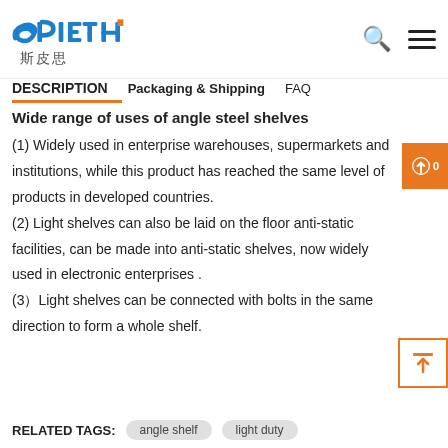[Figure (logo): SPIETH brand logo with blue and orange lettering, and Chinese characters 斯皮思 below]
DESCRIPTION   Packaging & Shipping   FAQ
Wide range of uses of angle steel shelves
(1) Widely used in enterprise warehouses, supermarkets and institutions, while this product has reached the same level of products in developed countries.
(2) Light shelves can also be laid on the floor anti-static facilities, can be made into anti-static shelves, now widely used in electronic enterprises .
(3）Light shelves can be connected with bolts in the same direction to form a whole shelf.
RELATED TAGS:
angle shelf
light duty